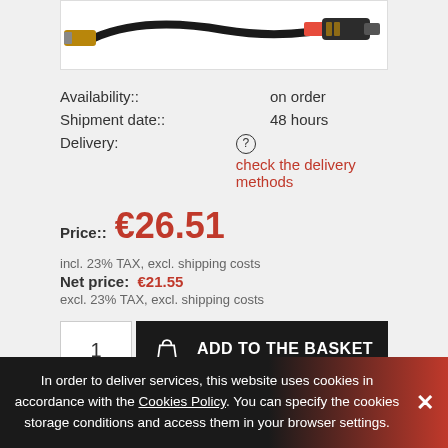[Figure (photo): Product image of a black cable with red and gold connectors on a white background]
Availability:: on order
Shipment date:: 48 hours
Delivery: check the delivery methods
Price:: €26.51
incl. 23% TAX, excl. shipping costs
Net price: €21.55
excl. 23% TAX, excl. shipping costs
1  ADD TO THE BASKET
In order to deliver services, this website uses cookies in accordance with the Cookies Policy. You can specify the cookies storage conditions and access them in your browser settings.